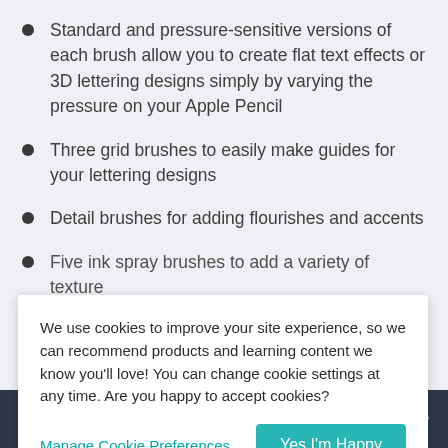Standard and pressure-sensitive versions of each brush allow you to create flat text effects or 3D lettering designs simply by varying the pressure on your Apple Pencil
Three grid brushes to easily make guides for your lettering designs
Detail brushes for adding flourishes and accents
Five ink spray brushes to add a variety of texture
We use cookies to improve your site experience, so we can recommend products and learning content we know you'll love! You can change cookie settings at any time. Are you happy to accept cookies?
Manage Cookie Preferences
Yes I'm Happy